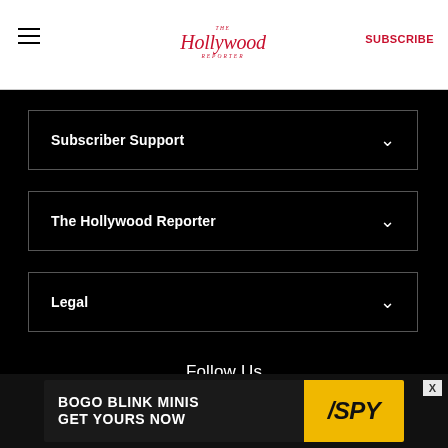The Hollywood Reporter | SUBSCRIBE
Subscriber Support
The Hollywood Reporter
Legal
Follow Us
[Figure (infographic): BOGO BLINK MINIS GET YOURS NOW advertisement with SPY logo on yellow background]